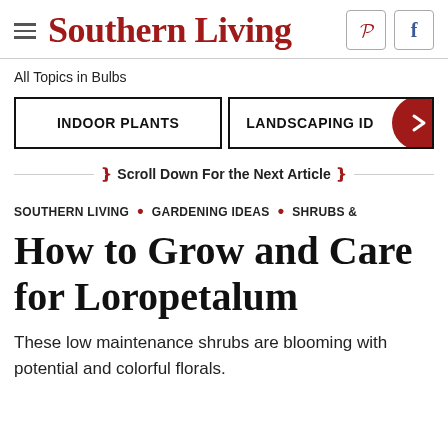Southern Living
All Topics in Bulbs
INDOOR PLANTS   LANDSCAPING ID →
❯❯ Scroll Down For the Next Article ❯❯
SOUTHERN LIVING • GARDENING IDEAS • SHRUBS &
How to Grow and Care for Loropetalum
These low maintenance shrubs are blooming with potential and colorful florals.